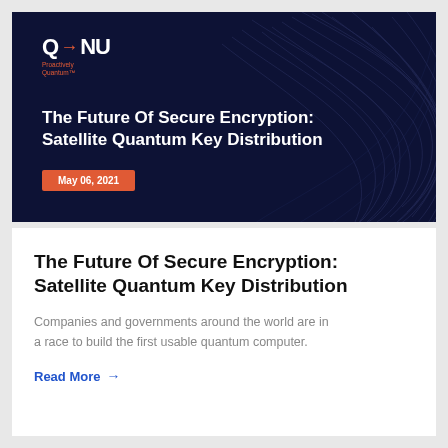[Figure (illustration): Dark navy hero banner with swirling abstract lines and Q→NU logo with 'Proactively Quantum' tagline, article title in white, and orange date badge reading 'May 06, 2021']
The Future Of Secure Encryption: Satellite Quantum Key Distribution
Companies and governments around the world are in a race to build the first usable quantum computer.
Read More →